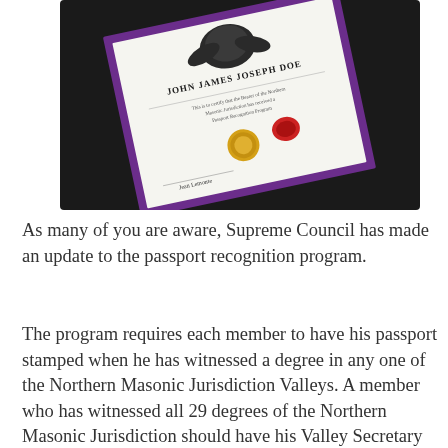[Figure (photo): A tilted photograph of a Masonic degree certificate or diploma with a purple border, gold seal, black eagle emblem at top, and the name 'John James Joseph Doe' displayed. The certificate sits in a dark folder/binder.]
As many of you are aware, Supreme Council has made an update to the passport recognition program.
The program requires each member to have his passport stamped when he has witnessed a degree in any one of the Northern Masonic Jurisdiction Valleys. A member who has witnessed all 29 degrees of the Northern Masonic Jurisdiction should have his Valley Secretary certify the completion of the passport. The secretary then submits the certified passport to